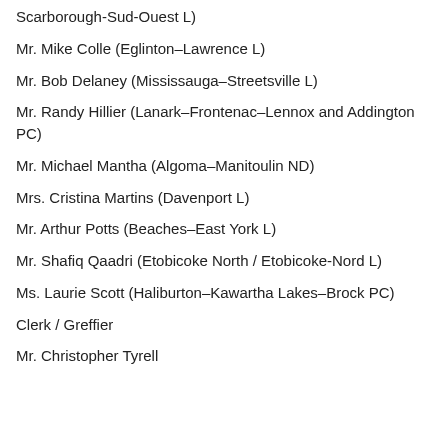Scarborough-Sud-Ouest L)
Mr. Mike Colle (Eglinton–Lawrence L)
Mr. Bob Delaney (Mississauga–Streetsville L)
Mr. Randy Hillier (Lanark–Frontenac–Lennox and Addington PC)
Mr. Michael Mantha (Algoma–Manitoulin ND)
Mrs. Cristina Martins (Davenport L)
Mr. Arthur Potts (Beaches–East York L)
Mr. Shafiq Qaadri (Etobicoke North / Etobicoke-Nord L)
Ms. Laurie Scott (Haliburton–Kawartha Lakes–Brock PC)
Clerk / Greffier
Mr. Christopher Tyrell